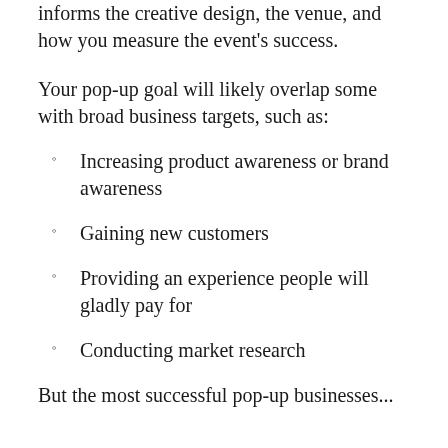informs the creative design, the venue, and how you measure the event's success.
Your pop-up goal will likely overlap some with broad business targets, such as:
Increasing product awareness or brand awareness
Gaining new customers
Providing an experience people will gladly pay for
Conducting market research
But the most successful pop-up businesses...